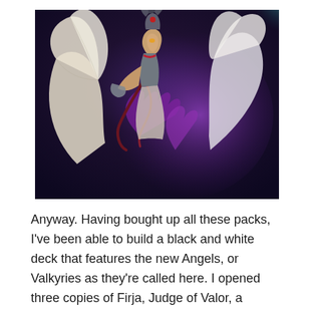[Figure (illustration): Fantasy illustration of a winged female figure (Valkyrie/Angel) with large white feathered wings spread wide, wearing dark armor with a horned helmet, surrounded by purple magical energy and glowing effects, set against a dark mystical background.]
Anyway. Having bought up all these packs, I've been able to build a black and white deck that features the new Angels, or Valkyries as they're called here. I opened three copies of Firja, Judge of Valor, a